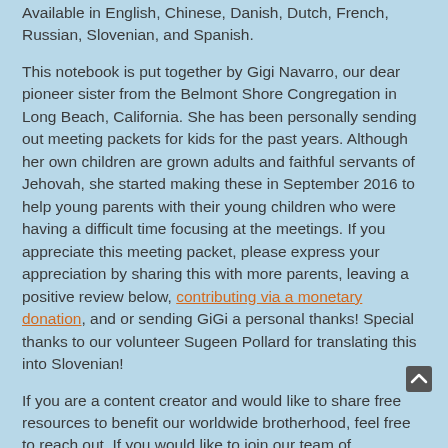Available in English, Chinese, Danish, Dutch, French, Russian, Slovenian, and Spanish.
This notebook is put together by Gigi Navarro, our dear pioneer sister from the Belmont Shore Congregation in Long Beach, California. She has been personally sending out meeting packets for kids for the past years. Although her own children are grown adults and faithful servants of Jehovah, she started making these in September 2016 to help young parents with their young children who were having a difficult time focusing at the meetings. If you appreciate this meeting packet, please express your appreciation by sharing this with more parents, leaving a positive review below, contributing via a monetary donation, and or sending GiGi a personal thanks! Special thanks to our volunteer Sugeen Pollard for translating this into Slovenian!
If you are a content creator and would like to share free resources to benefit our worldwide brotherhood, feel free to reach out. If you would like to join our team of volunteers to translate this material into another language, please don't be shy to let us know. =)
Need us to print this for you? Click here to see our printing...